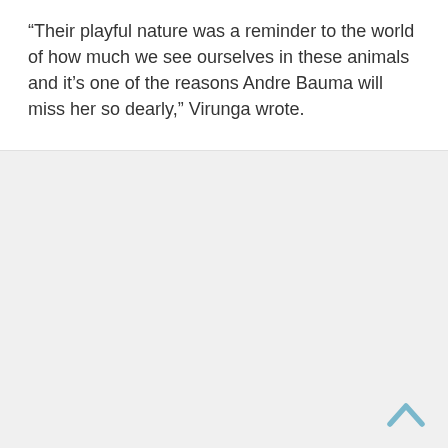“Their playful nature was a reminder to the world of how much we see ourselves in these animals and it’s one of the reasons Andre Bauma will miss her so dearly,” Virunga wrote.
[Figure (other): A light blue upward-pointing chevron/caret icon used as a scroll-to-top button, positioned at the bottom right of the page.]